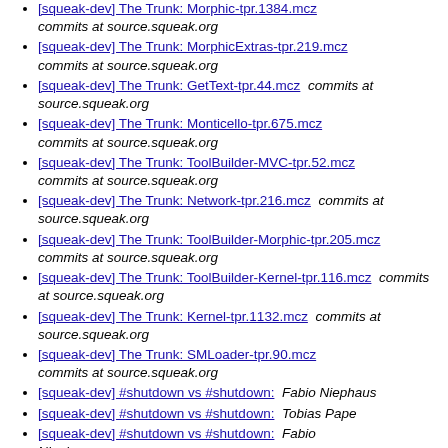[squeak-dev] The Trunk: Morphic-tpr.1384.mcz  commits at source.squeak.org
[squeak-dev] The Trunk: MorphicExtras-tpr.219.mcz  commits at source.squeak.org
[squeak-dev] The Trunk: GetText-tpr.44.mcz  commits at source.squeak.org
[squeak-dev] The Trunk: Monticello-tpr.675.mcz  commits at source.squeak.org
[squeak-dev] The Trunk: ToolBuilder-MVC-tpr.52.mcz  commits at source.squeak.org
[squeak-dev] The Trunk: Network-tpr.216.mcz  commits at source.squeak.org
[squeak-dev] The Trunk: ToolBuilder-Morphic-tpr.205.mcz  commits at source.squeak.org
[squeak-dev] The Trunk: ToolBuilder-Kernel-tpr.116.mcz  commits at source.squeak.org
[squeak-dev] The Trunk: Kernel-tpr.1132.mcz  commits at source.squeak.org
[squeak-dev] The Trunk: SMLoader-tpr.90.mcz  commits at source.squeak.org
[squeak-dev] #shutdown vs #shutdown:  Fabio Niephaus
[squeak-dev] #shutdown vs #shutdown:  Tobias Pape
[squeak-dev] #shutdown vs #shutdown:  Fabio Niephaus